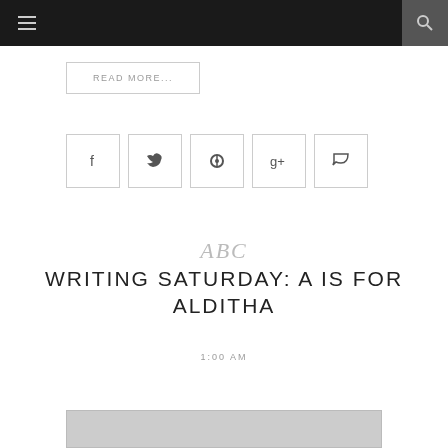Navigation bar with menu and search icons
READ MORE...
[Figure (other): Row of five social sharing icon buttons: Facebook, Twitter, Pinterest, Google+, Comment]
ABC
WRITING SATURDAY: A IS FOR ALDITHA
1:00 AM
[Figure (photo): Partial image visible at bottom of page]